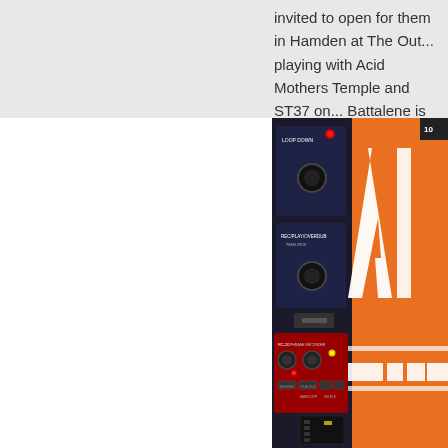invited to open for them in Hamden at The Out... playing with Acid Mothers Temple and ST37 on... Battalene is joining us for that one, so it should...
[Figure (photo): Photo of music equipment/guitar pedals on the left side including a loop pedal labeled 'LOOP DOWN' and 'REC/PLAY/OVERDUB', a red RC-20 style looper pedal with knobs and LED indicators, next to a large orange sign or poster with white letters showing partial text resembling 'AM' or similar large block lettering.]